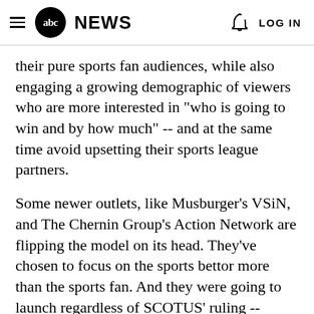abc NEWS   LOG IN
their pure sports fan audiences, while also engaging a growing demographic of viewers who are more interested in "who is going to win and by how much" -- and at the same time avoid upsetting their sports league partners.
Some newer outlets, like Musburger's VSiN, and The Chernin Group's Action Network are flipping the model on its head. They've chosen to focus on the sports bettor more than the sports fan. And they were going to launch regardless of SCOTUS' ruling -- though it certainly didn't hurt.
The Action Network combines established